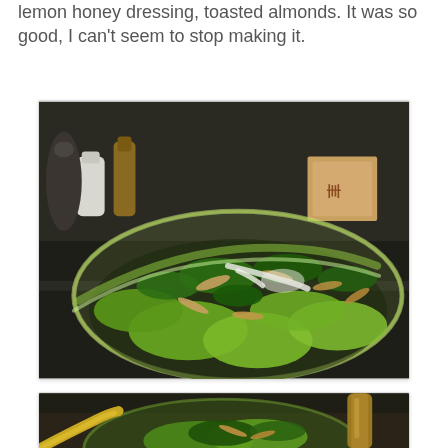lemon honey dressing, toasted almonds. It was so good, I can't seem to stop making it.
[Figure (photo): A glass bowl filled with a green salad consisting of lettuce, kale, toasted almonds, and dressing. The bowl sits on a dark kitchen counter with condiment bottles and a box in the background.]
[Figure (photo): A partial view of a similar glass salad bowl with green leaves and toppings, with a yellow wooden spoon visible and a brass pepper grinder in the background.]